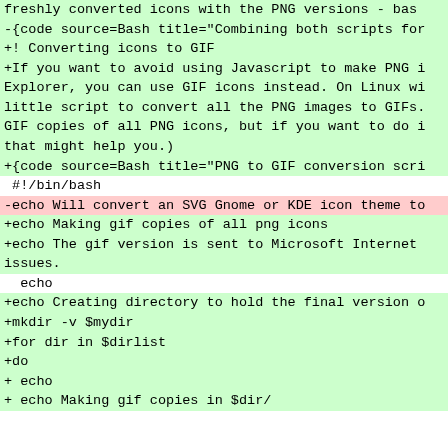freshly converted icons with the PNG versions - bas
-{code source=Bash title="Combining both scripts for
+! Converting icons to GIF
+If you want to avoid using Javascript to make PNG i Explorer, you can use GIF icons instead. On Linux wi little script to convert all the PNG images to GIFs. GIF copies of all PNG icons, but if you want to do i that might help you.)
+{code source=Bash title="PNG to GIF conversion scri
#!/bin/bash
-echo Will convert an SVG Gnome or KDE icon theme to
+echo Making gif copies of all png icons
+echo The gif version is sent to Microsoft Internet issues.
echo
+echo Creating directory to hold the final version o
+mkdir -v $mydir
+for dir in $dirlist
+do
+ echo
+ echo Making gif copies in $dir/